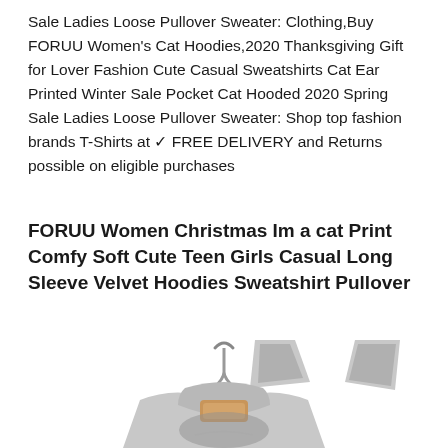Sale Ladies Loose Pullover Sweater: Clothing,Buy FORUU Women's Cat Hoodies,2020 Thanksgiving Gift for Lover Fashion Cute Casual Sweatshirts Cat Ear Printed Winter Sale Pocket Cat Hooded 2020 Spring Sale Ladies Loose Pullover Sweater: Shop top fashion brands T-Shirts at ✓ FREE DELIVERY and Returns possible on eligible purchases
FORUU Women Christmas Im a cat Print Comfy Soft Cute Teen Girls Casual Long Sleeve Velvet Hoodies Sweatshirt Pullover
[Figure (photo): A grey cat-ear hoodie sweatshirt hanging on a wooden clothes hanger against a white background. The hoodie has distinctive cat ears on the hood and appears to be a soft velvet or fleece material.]